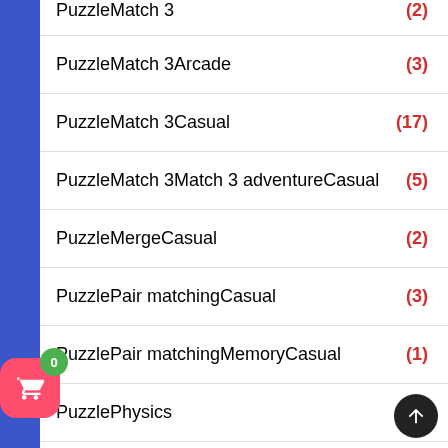PuzzleMatch 3
PuzzleMatch 3Arcade
PuzzleMatch 3Casual
PuzzleMatch 3Match 3 adventureCasual
PuzzleMergeCasual
PuzzlePair matchingCasual
PuzzlePair matchingMemoryCasual
PuzzlePhysics
PuzzlePhysicsCasual